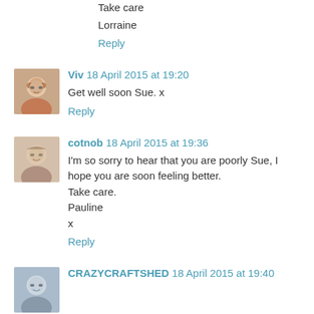Take care
Lorraine
Reply
Viv 18 April 2015 at 19:20
Get well soon Sue. x
Reply
cotnob 18 April 2015 at 19:36
I'm so sorry to hear that you are poorly Sue, I hope you are soon feeling better.
Take care.
Pauline
x
Reply
CRAZYCRAFTSHED 18 April 2015 at 19:40